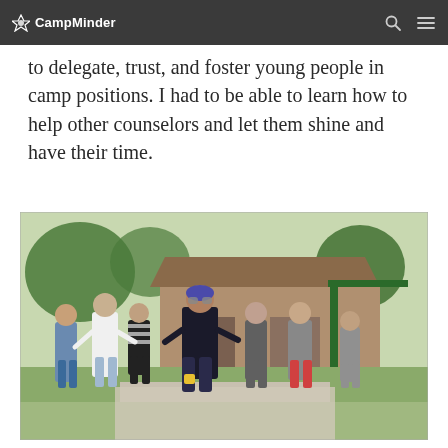CampMinder
to delegate, trust, and foster young people in camp positions. I had to be able to learn how to help other counselors and let them shine and have their time.
[Figure (photo): Group of camp counselors and campers walking together outdoors at a summer camp, with a building and green trees in the background. A male counselor in colorful attire leads the group.]